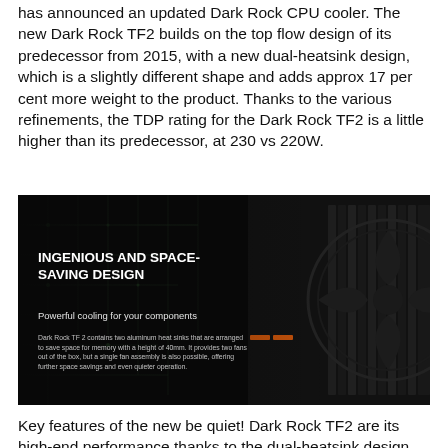has announced an updated Dark Rock CPU cooler. The new Dark Rock TF2 builds on the top flow design of its predecessor from 2015, with a new dual-heatsink design, which is a slightly different shape and adds approx 17 per cent more weight to the product. Thanks to the various refinements, the TDP rating for the Dark Rock TF2 is a little higher than its predecessor, at 230 vs 220W.
[Figure (photo): Product marketing image for be quiet! Dark Rock TF2 CPU cooler on a dark background with circuit board elements. Text overlay reads 'INGENIOUS AND SPACE-SAVING DESIGN' with subtitle 'Powerful cooling for your components' and body text describing the dual aluminum heat sinks.]
Key features of the new be quiet! Dark Rock TF2 are its high-end performance thanks to the dual-heatsink design, six high-performance 6mm heat pipes, and dual Silent Wings 135mm fans. Of course, the new design uses the latest Silent Wings 3 fans, upgraded from the first edition of this